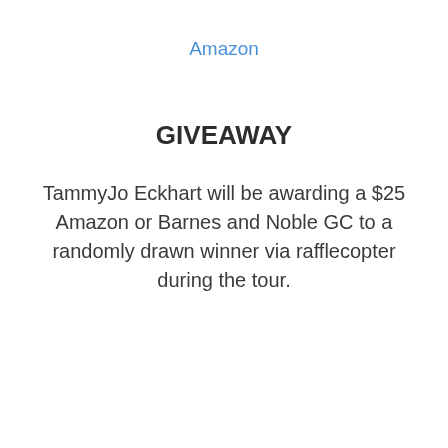Amazon
GIVEAWAY
TammyJo Eckhart will be awarding a $25 Amazon or Barnes and Noble GC to a randomly drawn winner via rafflecopter during the tour.